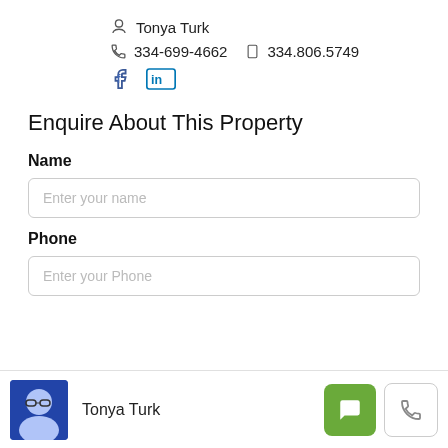Tonya Turk
334-699-4662   334.806.5749
[Figure (other): Facebook and LinkedIn social media icons in blue]
Enquire About This Property
Name
Enter your name
Phone
Enter your Phone
Tonya Turk — agent footer bar with photo, message button, and phone button